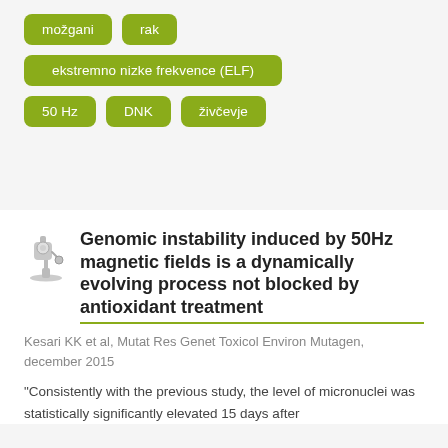možgani
rak
ekstremno nizke frekvence (ELF)
50 Hz
DNK
živčevje
[Figure (illustration): Microscope icon in gray]
Genomic instability induced by 50Hz magnetic fields is a dynamically evolving process not blocked by antioxidant treatment
Kesari KK et al, Mutat Res Genet Toxicol Environ Mutagen, december 2015
"Consistently with the previous study, the level of micronuclei was statistically significantly elevated 15 days after